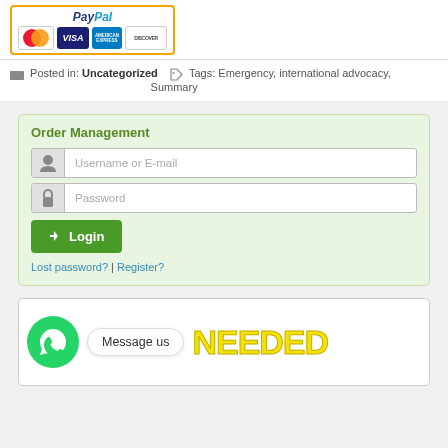[Figure (logo): PayPal logo with credit card icons: MasterCard, VISA, American Express, Discover]
Posted in: Uncategorized   Tags: Emergency, international advocacy, Summary
Order Management
[Figure (screenshot): Login form with Username or E-mail field, Password field, Login button, Lost password? | Register? links]
[Figure (infographic): WhatsApp message us banner with green WhatsApp icon, Message us bubble, and NEEDED text in yellow]